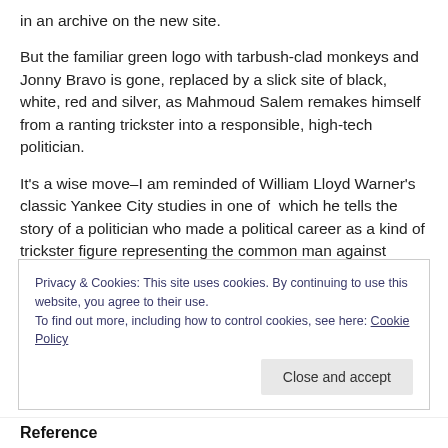in an archive on the new site.
But the familiar green logo with tarbush-clad monkeys and Jonny Bravo is gone, replaced by a slick site of black, white, red and silver, as Mahmoud Salem remakes himself from a ranting trickster into a responsible, high-tech politician.
It’s a wise move–I am reminded of William Lloyd Warner’s classic Yankee City studies in one of  which he tells the story of a politician who made a political career as a kind of trickster figure representing the common man against
Privacy & Cookies: This site uses cookies. By continuing to use this website, you agree to their use.
To find out more, including how to control cookies, see here: Cookie Policy
Reference